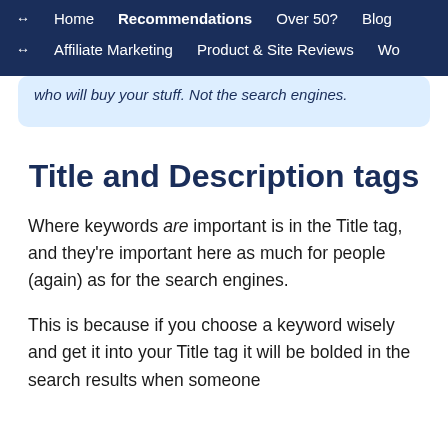← Home  Recommendations  Over 50?  Blog
↔ Affiliate Marketing  Product & Site Reviews  Wo
who will buy your stuff. Not the search engines.
Title and Description tags
Where keywords are important is in the Title tag, and they're important here as much for people (again) as for the search engines.
This is because if you choose a keyword wisely and get it into your Title tag it will be bolded in the search results when someone